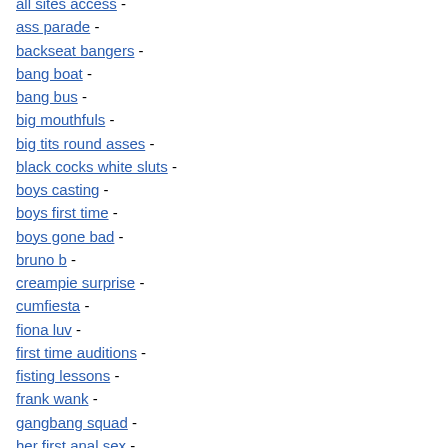all sites access -
ass parade -
backseat bangers -
bang boat -
bang bus -
big mouthfuls -
big tits round asses -
black cocks white sluts -
boys casting -
boys first time -
boys gone bad -
bruno b -
creampie surprise -
cumfiesta -
fiona luv -
first time auditions -
fisting lessons -
frank wank -
gangbang squad -
her first anal sex -
her first ass to mouth -
her first big cock -
her first lesbian sex -
his first -